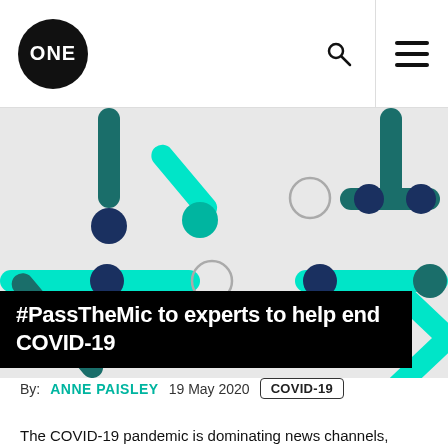ONE
[Figure (illustration): Abstract decorative graphic with teal, dark teal, navy, and cyan geometric pill/connector shapes and circles on a light grey background]
#PassTheMic to experts to help end COVID-19
By: ANNE PAISLEY 19 May 2020 COVID-19
The COVID-19 pandemic is dominating news channels, social media, and our daily conversations. With such an